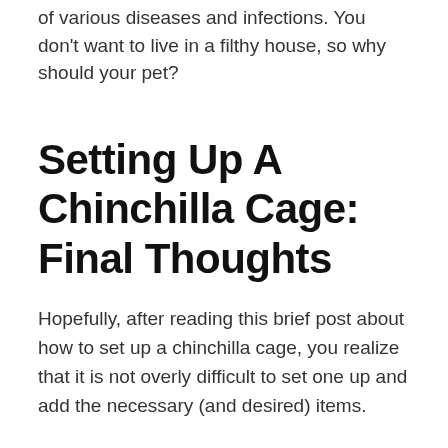of various diseases and infections. You don't want to live in a filthy house, so why should your pet?
Setting Up A Chinchilla Cage: Final Thoughts
Hopefully, after reading this brief post about how to set up a chinchilla cage, you realize that it is not overly difficult to set one up and add the necessary (and desired) items.
With some planning and a few purchases following my recommendations, you will have your chinchilla's cage set up and in great working order